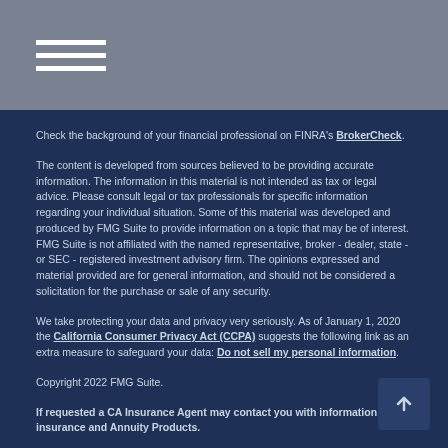[Figure (other): Navigation menu icon (hamburger/three horizontal lines) on a grey header bar]
Check the background of your financial professional on FINRA's BrokerCheck.
The content is developed from sources believed to be providing accurate information. The information in this material is not intended as tax or legal advice. Please consult legal or tax professionals for specific information regarding your individual situation. Some of this material was developed and produced by FMG Suite to provide information on a topic that may be of interest. FMG Suite is not affiliated with the named representative, broker - dealer, state - or SEC - registered investment advisory firm. The opinions expressed and material provided are for general information, and should not be considered a solicitation for the purchase or sale of any security.
We take protecting your data and privacy very seriously. As of January 1, 2020 the California Consumer Privacy Act (CCPA) suggests the following link as an extra measure to safeguard your data: Do not sell my personal information.
Copyright 2022 FMG Suite.
If requested a CA Insurance Agent may contact you with information on insurance and Annuity Products.